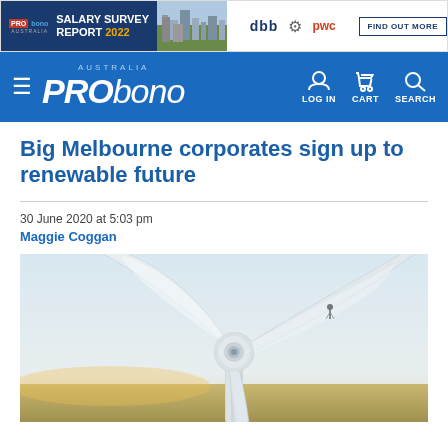[Figure (screenshot): Pro Bono Australia Salary Survey Report 2022 advertisement banner with dbb and pwc logos and Find Out More button]
PRO bono AUSTRALIA — navigation bar with LOG IN, CART, SEARCH
Big Melbourne corporates sign up to renewable future
30 June 2020 at 5:03 pm
Maggie Coggan
[Figure (photo): Close-up photograph of a wind turbine from below showing three large white blades against a pale sky, with a rural landscape visible below]